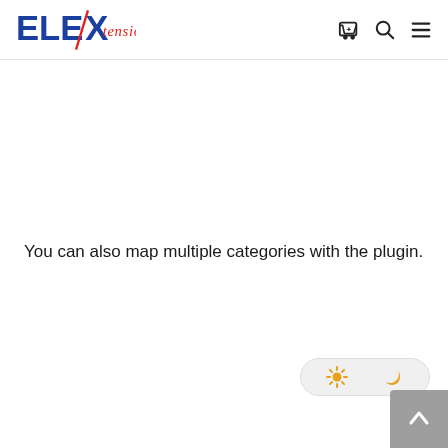[Figure (logo): ELExtensions logo with ELE in blue and xtensions in red cursive script with a diagonal slash mark]
You can also map multiple categories with the plugin.
[Figure (other): Dark mode toggle switch with sun icon (light mode) on left and moon crescent icon (dark mode, active/orange) on right]
[Figure (other): Back to top button — grey rounded square with white upward chevron arrow]